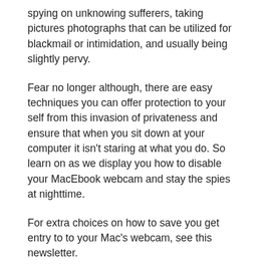spying on unknowing sufferers, taking pictures photographs that can be utilized for blackmail or intimidation, and usually being slightly pervy.
Fear no longer although, there are easy techniques you can offer protection to your self from this invasion of privateness and ensure that when you sit down at your computer it isn't staring at what you do. So learn on as we display you how to disable your MacEbook webcam and stay the spies at nighttime.
For extra choices on how to save you get entry to to your Mac's webcam, see this newsletter.
Related: Do Macs get viruses? | Best Mac safety pointers | How to take away Mac malware, viruses and ransomeware without spending a dime